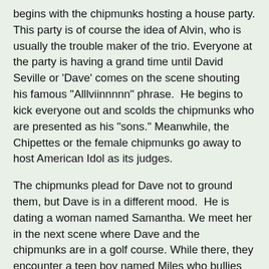begins with the chipmunks hosting a house party. This party is of course the idea of Alvin, who is usually the trouble maker of the trio. Everyone at the party is having a grand time until David Seville or 'Dave' comes on the scene shouting his famous "Alllviinnnnn" phrase.  He begins to kick everyone out and scolds the chipmunks who are presented as his "sons." Meanwhile, the Chipettes or the female chipmunks go away to host American Idol as its judges.
The chipmunks plead for Dave not to ground them, but Dave is in a different mood.  He is dating a woman named Samantha. We meet her in the next scene where Dave and the chipmunks are in a golf course. While there, they encounter a teen boy named Miles who bullies them. He stops Theodore's golf ball from entering the hole as a hole-in-1. Afterwards, he bullies Theodore and hangs him on a windmill on the kiddie golf course. Alvin defends his brother, but clearly the chipmunks are no match for this teen boy who is clearly massive compared to their pint size. At this moment, Dave comes with Samantha and introduces her to the chipmunks along with Miles.  Alvin and the other brothers are shocked that the teen boy who was bullying them was